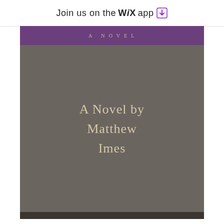Join us on the WiX app ⬇
[Figure (illustration): Book cover with dark grayish-brown background, purple banner at top reading 'A NOVEL' in small caps gold lettering, and centered author credit text 'A Novel by Matthew Imes' in cream/gold serif font. Dark charcoal strip at bottom.]